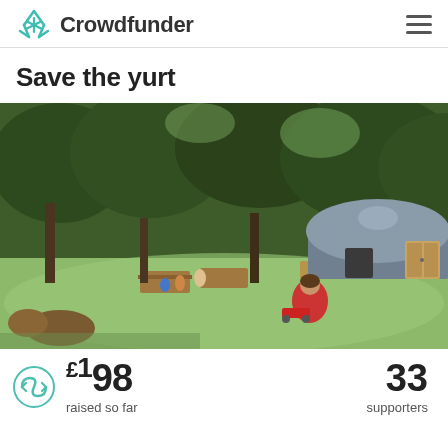Crowdfunder
Save the yurt
[Figure (photo): Outdoor scene with a large blue/grey yurt structure on wooden pallets at the edge of a wooded area. Green lawn in foreground with picnic tables; a person in a red top sits on the grass; children and adults in the background near picnic benches.]
£198 raised so far
33 supporters